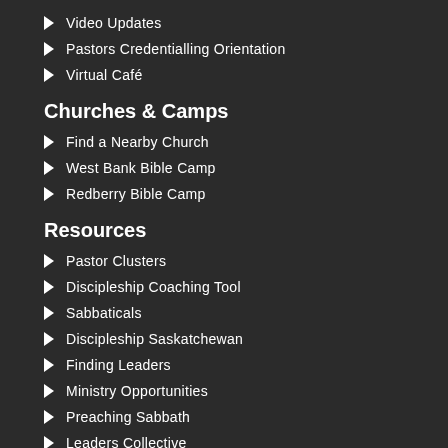Video Updates
Pastors Credentialling Orientation
Virtual Café
Churches & Camps
Find a Nearby Church
West Bank Bible Camp
Redberry Bible Camp
Resources
Pastor Clusters
Discipleship Coaching Tool
Sabbaticals
Discipleship Saskatchewan
Finding Leaders
Ministry Opportunities
Preaching Sabbath
Leaders Collective